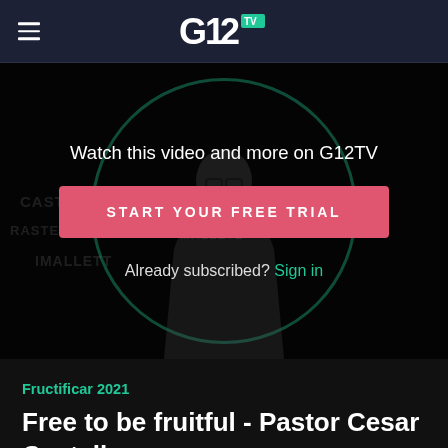G12TV
[Figure (screenshot): Video player screenshot showing a dark background with a green circle logo watermark and a silhouette of a person (Pastor Cesar Castellanos). Overlay text reads 'Watch this video and more on G12TV', a red/pink button 'START YOUR FREE TRIAL', and 'Already subscribed? Sign in']
Watch this video and more on G12TV
START YOUR FREE TRIAL
Already subscribed? Sign in
Fructificar 2021
Free to be fruitful - Pastor Cesar Castellanos